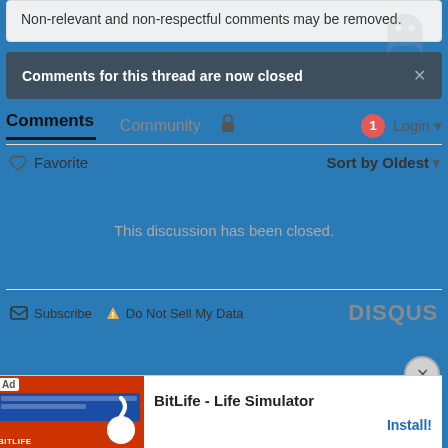Non-relevant and non-respectful comments may be removed.
Comments for this thread are now closed
Comments  Community  Login
♡ Favorite   Sort by Oldest
This discussion has been closed.
Subscribe  Do Not Sell My Data  DISQUS
[Figure (screenshot): Ad banner for BitLife - Life Simulator app with Install button]